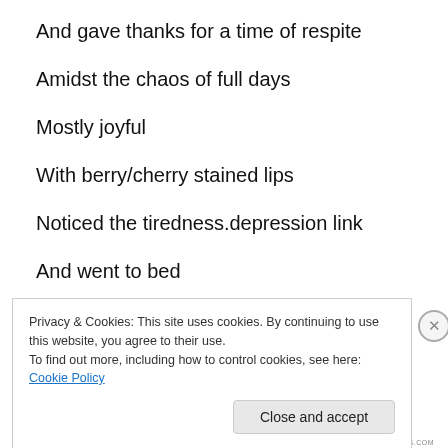And gave thanks for a time of respite
Amidst the chaos of full days
Mostly joyful
With berry/cherry stained lips
Noticed the tiredness.depression link
And went to bed
xxx
Privacy & Cookies: This site uses cookies. By continuing to use this website, you agree to their use.
To find out more, including how to control cookies, see here: Cookie Policy